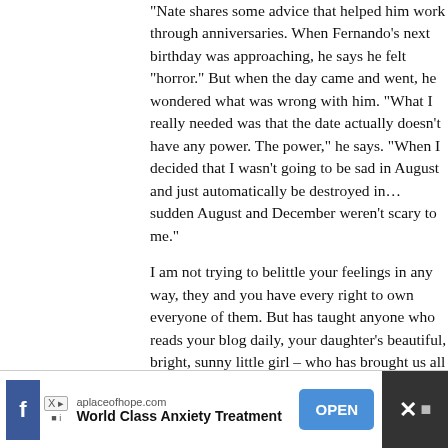“Nate shares some advice that helped him work through anniversaries. When Fernando’s next birthday was approaching, he says he felt “horror.” But when the day came and went, he wondered what was wrong with him. “What I really needed was that the date actually doesn’t have any power. The power,” he says. “When I decided that I wasn’t going to be sad in August and just automatically be destroyed in… sudden August and December weren’t scary to me.”
I am not trying to belittle your feelings in any way, they and you have every right to own everyone of them. But has taught anyone who reads your blog daily, your daughter’s beautiful, bright, sunny little girl – who has brought us all to cheer you, Mike, your family and friends on; people who set up a charity in her name and have people marching for dimes and dollars to honour her and her memory.
I am not saying don’t be sad when the 7th April rolls around, don’t let it hold power over you – let Maddie shine through.
Much love, be strong – to you, Mike, Annabel and Rigby
[Figure (screenshot): Advertisement bar at the bottom: Facebook icon on left, X/ad badge, aplaceofhope.com domain, 'World Class Anxiety Treatment' title, blue OPEN button, dark panel with X close and social icons on right.]